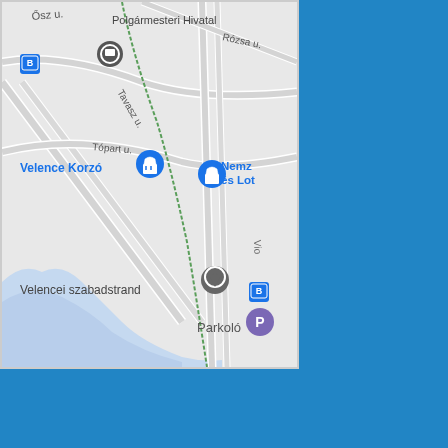[Figure (map): Google Maps screenshot showing Velence, Hungary. Visible landmarks include Polgármesteri Hivatal (Mayor's Office), Velence Korzó shopping area, Nemzeti és Lottó (partially visible), Velencei szabadstrand (free beach), and a Parkoló (parking). Streets labeled include Ősz u., Rózsa u., Tavasz u., Tópart u., and Vio... (partially visible). The lake (Velencei-tó) is visible as a light blue area on the left side. Several map markers are shown in blue (shopping bag icons), grey (location pin), and purple (parking P). Bus stop icons also visible.]